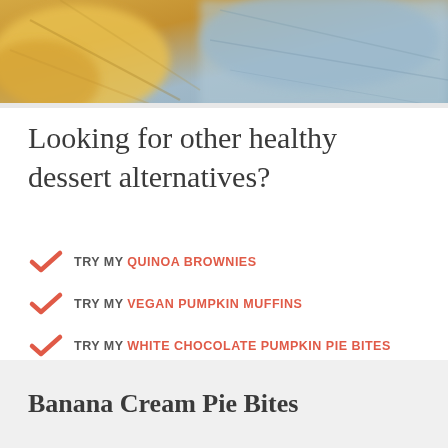[Figure (photo): Close-up photo of food, appears to show bananas or dessert with blurred background in yellow and grey-blue tones.]
Looking for other healthy dessert alternatives?
TRY MY QUINOA BROWNIES
TRY MY VEGAN PUMPKIN MUFFINS
TRY MY WHITE CHOCOLATE PUMPKIN PIE BITES
TRY MY CHOCOLATE CHIP BANANA BREAD
Banana Cream Pie Bites